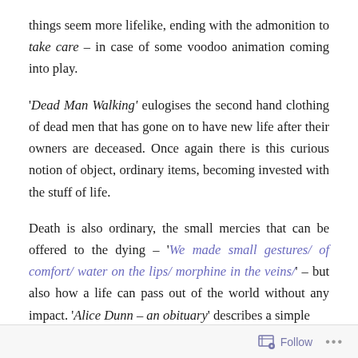things seem more lifelike, ending with the admonition to take care – in case of some voodoo animation coming into play.
'Dead Man Walking' eulogises the second hand clothing of dead men that has gone on to have new life after their owners are deceased. Once again there is this curious notion of object, ordinary items, becoming invested with the stuff of life.
Death is also ordinary, the small mercies that can be offered to the dying – 'We made small gestures/ of comfort/ water on the lips/ morphine in the veins/' – but also how a life can pass out of the world without any impact. 'Alice Dunn – an obituary' describes a simple
Follow